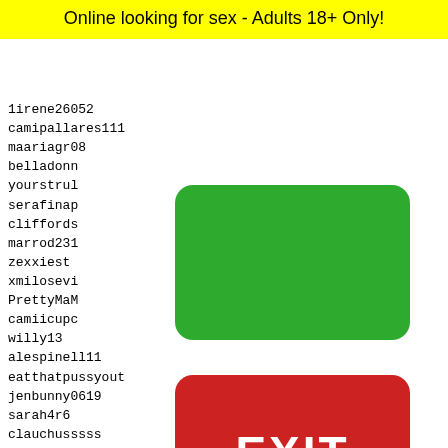Online looking for sex - Adults 18+ Only!
1irene26052
camipallares111
maariagr08
belladonn
yourstrul
serafinap
cliffords
marrod231
zexxiest
xmilosevi
PrettyMaM
camiicupc
willy13
alespinell11
eatthatpussyout
jenbunny0619
sarah4r6
clauchusssss
malfoyanipple
kaatyy^^
h0rnyg
jgr18
brandn
BIGMAN
dreamm
widn
[Figure (other): Green rounded rectangle button]
[Figure (other): Red rounded rectangle button with EXIT text]
29377 29378 29379 29380 29381
[Figure (other): Yellow Snapchat ghost face icon with black rounded border and dot pattern]